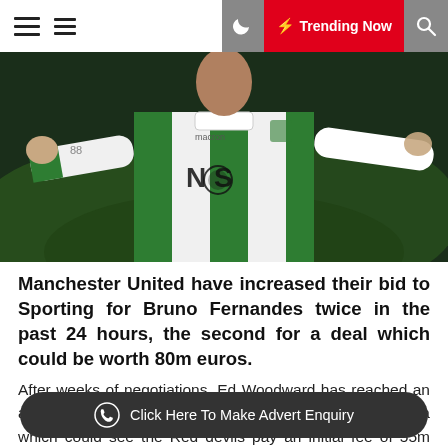Trending Now
[Figure (photo): Bruno Fernandes celebrating in Sporting CP green and white striped jersey with NOS sponsor, arms outstretched]
Manchester United have increased their bid to Sporting for Bruno Fernandes twice in the past 24 hours, the second for a deal which could be worth 80m euros.
After weeks of negotiations, Ed Woodward has reached an agreement with Sporting Lisbon's director Hugo Viana which could see the Red devils pay an initial fee of 55m euros plus add-ons.
Click Here To Make Advert Enquiry